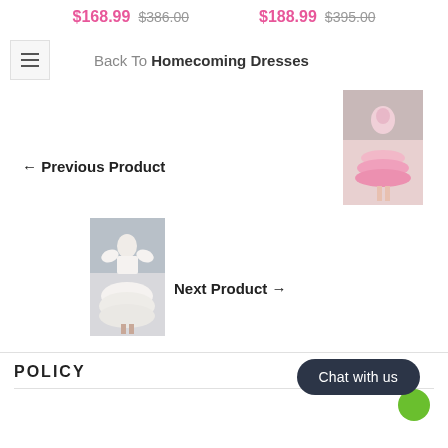$168.99  $386.00   $188.99  $395.00
Back To Homecoming Dresses
← Previous Product
[Figure (photo): Pink tiered tulle homecoming dress worn by a model]
[Figure (photo): White off-shoulder ball gown dress worn by a model outdoors]
Next Product →
POLICY
Chat with us